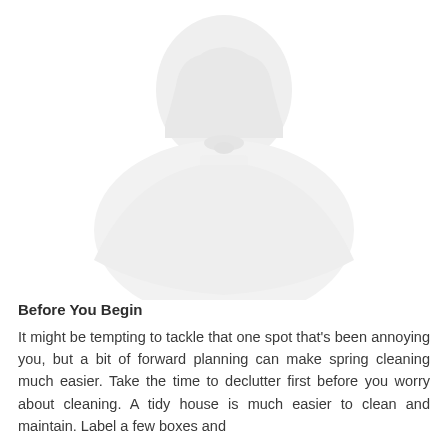[Figure (illustration): A faint, light gray silhouette illustration of a person (possibly wearing a hat or hood) centered in the upper portion of the page, with a large rounded shape that fades against the white background.]
Before You Begin
It might be tempting to tackle that one spot that's been annoying you, but a bit of forward planning can make spring cleaning much easier. Take the time to declutter first before you worry about cleaning. A tidy house is much easier to clean and maintain. Label a few boxes and